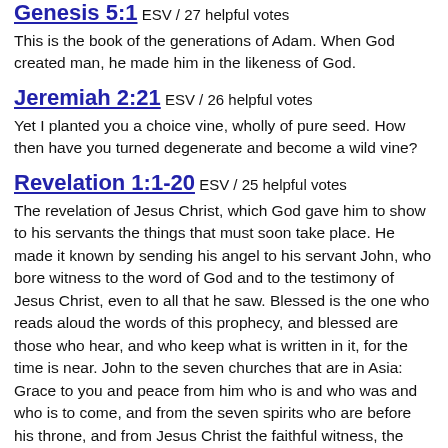Genesis 5:1 ESV / 27 helpful votes
This is the book of the generations of Adam. When God created man, he made him in the likeness of God.
Jeremiah 2:21 ESV / 26 helpful votes
Yet I planted you a choice vine, wholly of pure seed. How then have you turned degenerate and become a wild vine?
Revelation 1:1-20 ESV / 25 helpful votes
The revelation of Jesus Christ, which God gave him to show to his servants the things that must soon take place. He made it known by sending his angel to his servant John, who bore witness to the word of God and to the testimony of Jesus Christ, even to all that he saw. Blessed is the one who reads aloud the words of this prophecy, and blessed are those who hear, and who keep what is written in it, for the time is near. John to the seven churches that are in Asia: Grace to you and peace from him who is and who was and who is to come, and from the seven spirits who are before his throne, and from Jesus Christ the faithful witness, the firstborn of the